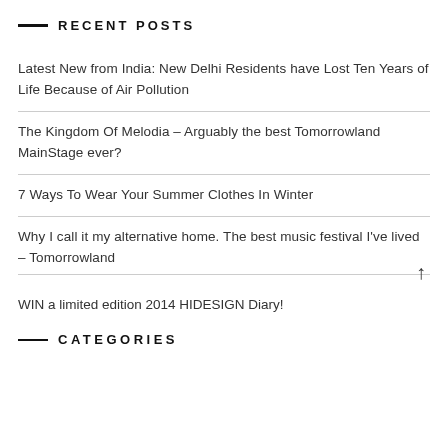RECENT POSTS
Latest New from India: New Delhi Residents have Lost Ten Years of Life Because of Air Pollution
The Kingdom Of Melodia – Arguably the best Tomorrowland MainStage ever?
7 Ways To Wear Your Summer Clothes In Winter
Why I call it my alternative home. The best music festival I've lived – Tomorrowland
WIN a limited edition 2014 HIDESIGN Diary!
CATEGORIES